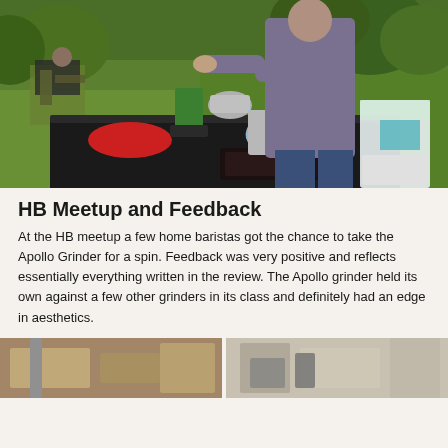[Figure (photo): Outdoor camping scene: a man in a gray hoodie pouring water from a metal kettle on a camp stove, with various coffee gear (grinder, cups, containers) arranged on a black folding table. Green lawn and trees in background; another person seated in a camp chair behind.]
HB Meetup and Feedback
At the HB meetup a few home baristas got the chance to take the Apollo Grinder for a spin. Feedback was very positive and reflects essentially everything written in the review. The Apollo grinder held its own against a few other grinders in its class and definitely had an edge in aesthetics.
[Figure (photo): Partial view of a second photo showing coffee equipment on a wooden surface, split into two panels.]